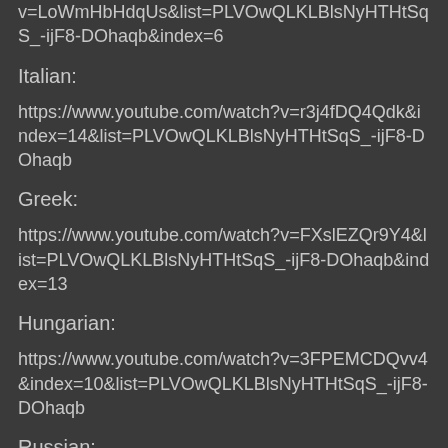v=LoWmHbHdqUs&list=PLVOwQLKLBlsNyHTHtSqS_-ijF8-DOhaqb&index=6
Italian:
https://www.youtube.com/watch?v=r3j4fDQ4Qdk&index=14&list=PLVOwQLKLBlsNyHTHtSqS_-ijF8-DOhaqb
Greek:
https://www.youtube.com/watch?v=FXslEZQr9Y4&list=PLVOwQLKLBlsNyHTHtSqS_-ijF8-DOhaqb&index=13
Hungarian:
https://www.youtube.com/watch?v=3FPEMCDQvv4&index=10&list=PLVOwQLKLBlsNyHTHtSqS_-ijF8-DOhaqb
Russian: